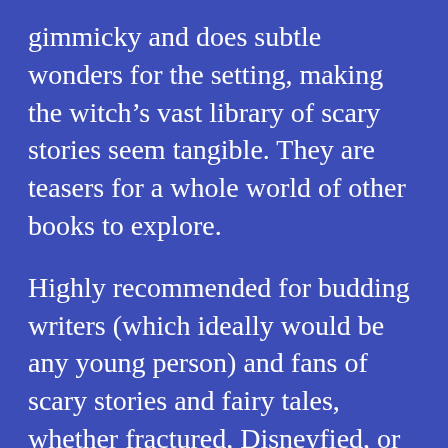gimmicky and does subtle wonders for the setting, making the witch's vast library of scary stories seem tangible. They are teasers for a whole world of other books to explore.
Highly recommended for budding writers (which ideally would be any young person) and fans of scary stories and fairy tales, whether fractured, Disneyfied, or traditionally dark. It could make a good read-alike for Neil Gaiman's middle grade books, Adam Gidwitz' A Tale Dark and Grimm